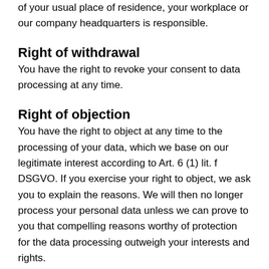of your usual place of residence, your workplace or our company headquarters is responsible.
Right of withdrawal
You have the right to revoke your consent to data processing at any time.
Right of objection
You have the right to object at any time to the processing of your data, which we base on our legitimate interest according to Art. 6 (1) lit. f DSGVO. If you exercise your right to object, we ask you to explain the reasons. We will then no longer process your personal data unless we can prove to you that compelling reasons worthy of protection for the data processing outweigh your interests and rights.